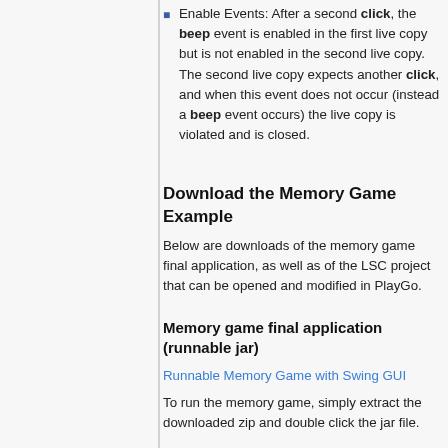Enable Events: After a second click, the beep event is enabled in the first live copy but is not enabled in the second live copy. The second live copy expects another click, and when this event does not occur (instead a beep event occurs) the live copy is violated and is closed.
Download the Memory Game Example
Below are downloads of the memory game final application, as well as of the LSC project that can be opened and modified in PlayGo.
Memory game final application (runnable jar)
Runnable Memory Game with Swing GUI
To run the memory game, simply extract the downloaded zip and double click the jar file.
Memory Game LSC project